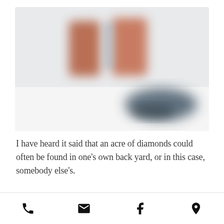[Figure (photo): A blurry, out-of-focus photograph on a white background showing two reddish-brown rectangular objects on the upper left and a dark teal oval/elliptical object on the lower right.]
I have heard it said that an acre of diamonds could often be found in one's own back yard, or in this case, somebody else's.
Here is the story behind my new
Phone | Email | Facebook | Location icons